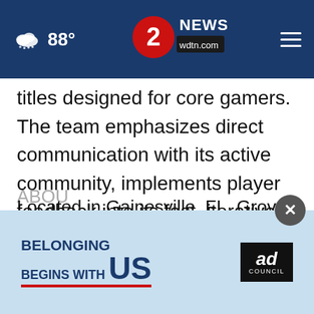88° | 2 NEWS wdtn.com
titles designed for core gamers. The team emphasizes direct communication with its active community, implements player feedback into its fast, iterative dev cycle, and provides tools to drive user-generated content. Studio Wildcard includes distributed developers across multiple continents, as wherever talented developers reside, Wildcard seeks them out! www.studiowildcard.com
ABOU
Located in Gainesville, FL, Grove Street Games
[Figure (screenshot): Ad overlay: 'Belonging Begins With US' Ad Council advertisement with close button]